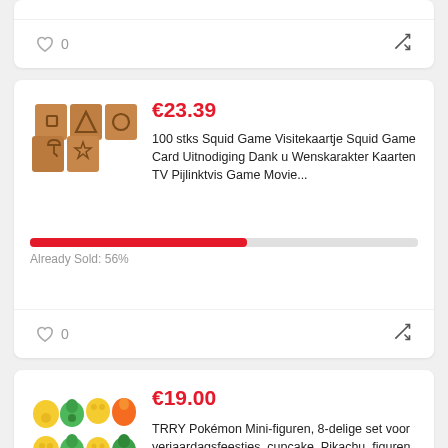[Figure (other): Partial top card with heart/0 and shuffle icon at bottom]
0
[Figure (other): Squid Game themed kraft paper business cards with symbols: square, triangle, circle, umbrella, star]
€23.39
100 stks Squid Game Visitekaartje Squid Game Card Uitnodiging Dank u Wenskarakter Kaarten TV Pijlinktvis Game Movie...
Already Sold: 56%
0
[Figure (other): TRRY Pokemon mini figures set of 8, including Pikachu and other characters in yellow and green colors]
€19.00
TRRY Pokémon Mini-figuren, 8-delige set voor verjaardagsfeestjes, cupcake, Pikachu, figuren, taartdecoratie voor...
Already Sold: 95%